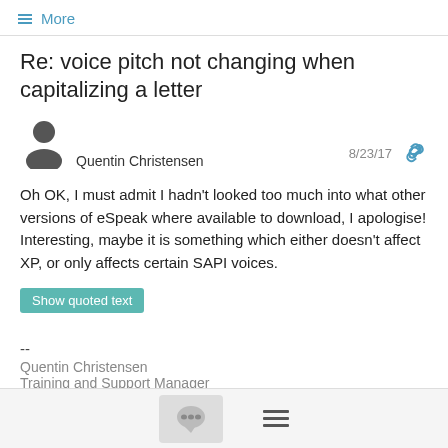≡ More
Re: voice pitch not changing when capitalizing a letter
Quentin Christensen  8/23/17
Oh OK, I must admit I hadn't looked too much into what other versions of eSpeak where available to download, I apologise! Interesting, maybe it is something which either doesn't affect XP, or only affects certain SAPI voices.
Show quoted text
--
Quentin Christensen
Training and Support Manager